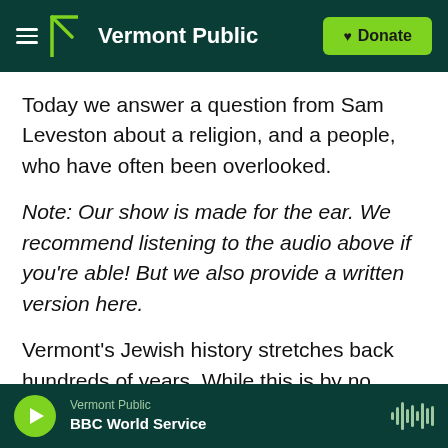[Figure (logo): Vermont Public website header with hamburger menu, Vermont Public logo in white on dark green background, and a yellow-green Donate button with heart icon]
Today we answer a question from Sam Leveston about a religion, and a people, who have often been overlooked.
Note: Our show is made for the ear. We recommend listening to the audio above if you're able! But we also provide a written version here.
Vermont's Jewish history stretches back hundreds of years. While this is by no means an exhaustive account, there's enough here that we're breaking things up into chapters.
[Figure (screenshot): Audio player bar at bottom: green play button, Vermont Public label, BBC World Service show title, waveform icon on dark green background]